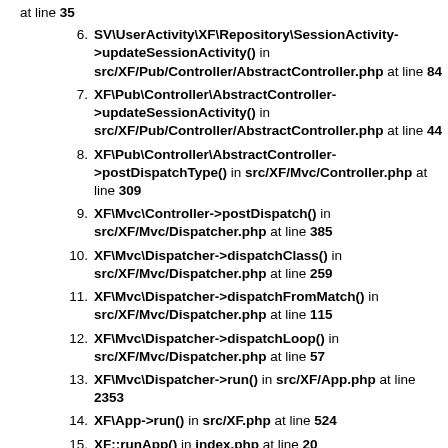at line 35
6. SV\UserActivity\XF\Repository\SessionActivity->updateSessionActivity() in src/XF/Pub/Controller/AbstractController.php at line 84
7. XF\Pub\Controller\AbstractController->updateSessionActivity() in src/XF/Pub/Controller/AbstractController.php at line 44
8. XF\Pub\Controller\AbstractController->postDispatchType() in src/XF/Mvc/Controller.php at line 309
9. XF\Mvc\Controller->postDispatch() in src/XF/Mvc/Dispatcher.php at line 385
10. XF\Mvc\Dispatcher->dispatchClass() in src/XF/Mvc/Dispatcher.php at line 259
11. XF\Mvc\Dispatcher->dispatchFromMatch() in src/XF/Mvc/Dispatcher.php at line 115
12. XF\Mvc\Dispatcher->dispatchLoop() in src/XF/Mvc/Dispatcher.php at line 57
13. XF\Mvc\Dispatcher->run() in src/XF/App.php at line 2353
14. XF\App->run() in src/XF.php at line 524
15. XF::runApp() in index.php at line 20
8. XFDB noForceAll\nite...